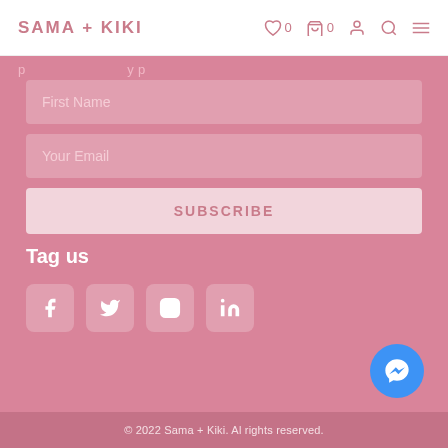SAMA + KIKI
p ... y p
First Name
Your Email
SUBSCRIBE
Tag us
[Figure (other): Social media icons: Facebook, Twitter, Instagram, LinkedIn]
[Figure (other): Facebook Messenger chat button (blue circle)]
© 2022 Sama + Kiki. Al rights reserved.